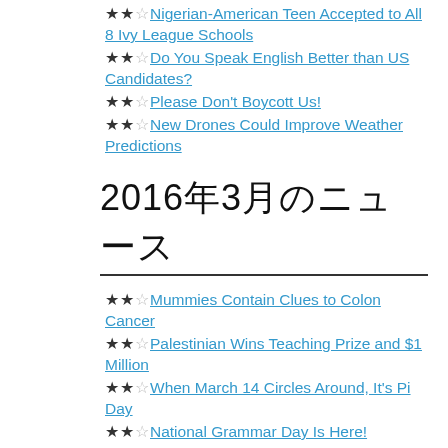★★☆ Nigerian-American Teen Accepted to All 8 Ivy League Schools
★★☆ Do You Speak English Better than US Candidates?
★★☆ Please Don't Boycott Us!
★★☆ New Drones Could Improve Weather Predictions
2016年3月のニュース
★★☆ Mummies Contain Clues to Colon Cancer
★★☆ Palestinian Wins Teaching Prize and $1 Million
★★☆ When March 14 Circles Around, It's Pi Day
★★☆ National Grammar Day Is Here!
★★☆ Helping Children Too Much Is Hurting Them
2016年2月のニュース
★★☆ Saudi Arabian Women's...